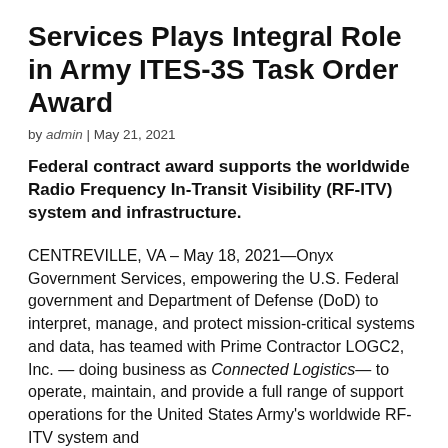Services Plays Integral Role in Army ITES-3S Task Order Award
by admin | May 21, 2021
Federal contract award supports the worldwide Radio Frequency In-Transit Visibility (RF-ITV) system and infrastructure.
CENTREVILLE, VA – May 18, 2021—Onyx Government Services, empowering the U.S. Federal government and Department of Defense (DoD) to interpret, manage, and protect mission-critical systems and data, has teamed with Prime Contractor LOGC2, Inc. — doing business as Connected Logistics— to operate, maintain, and provide a full range of support operations for the United States Army's worldwide RF-ITV system and